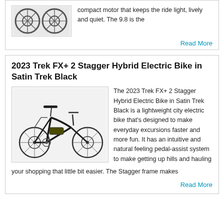[Figure (photo): Partial view of bicycle wheels/tires at top of page (cropped product image)]
compact motor that keeps the ride light, lively and quiet. The 9.8 is the
Read More
2023 Trek FX+ 2 Stagger Hybrid Electric Bike in Satin Trek Black
[Figure (photo): 2023 Trek FX+ 2 Stagger Hybrid Electric Bike in Satin Trek Black - side profile image of a black electric city bike]
The 2023 Trek FX+ 2 Stagger Hybrid Electric Bike in Satin Trek Black is a lightweight city electric bike that's designed to make everyday excursions faster and more fun. It has an intuitive and natural feeling pedal-assist system to make getting up hills and hauling your shopping that little bit easier. The Stagger frame makes
Read More